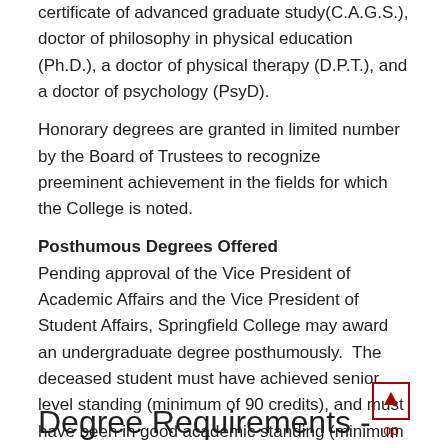certificate of advanced graduate study(C.A.G.S.), doctor of philosophy in physical education (Ph.D.), a doctor of physical therapy (D.P.T.), and a doctor of psychology (PsyD).
Honorary degrees are granted in limited number by the Board of Trustees to recognize preeminent achievement in the fields for which the College is noted.
Posthumous Degrees Offered
Pending approval of the Vice President of Academic Affairs and the Vice President of Student Affairs, Springfield College may award an undergraduate degree posthumously.  The deceased student must have achieved senior level standing (minimum of 90 credits), and must have been in good academic standing (minimum 2.000 cumulative GPA). The posthumous nature of the degree will be indicated on the student's official transcript.
Degree Requirements -